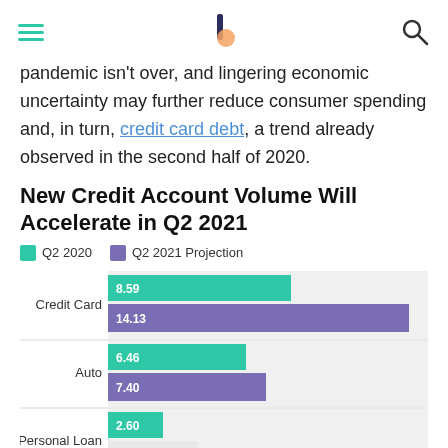[hamburger menu] [logo] [search icon]
pandemic isn't over, and lingering economic uncertainty may further reduce consumer spending and, in turn, credit card debt, a trend already observed in the second half of 2020.
New Credit Account Volume Will Accelerate in Q2 2021
[Figure (grouped-bar-chart): New Credit Account Volume Will Accelerate in Q2 2021]